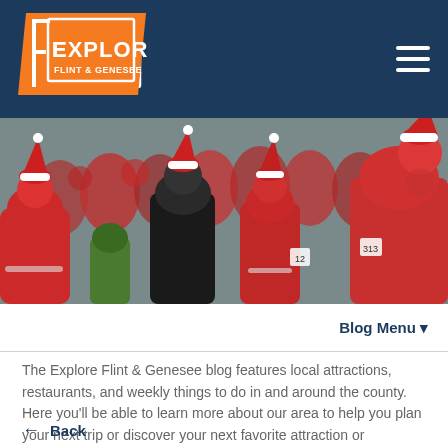[Figure (logo): Explore Flint & Genesee logo on orange banner background with white border frame]
[Figure (photo): Large crowd of people dressed in red Santa Claus costumes viewed from behind]
Blog Menu ▾
The Explore Flint & Genesee blog features local attractions, restaurants, and weekly things to do in and around the county. Here you'll be able to learn more about our area to help you plan your next trip or discover your next favorite attraction or restaurant in Flint & Genesee!
← Back